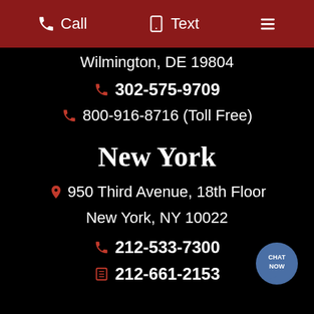Call  Text  ≡
Wilmington, DE 19804
302-575-9709
800-916-8716 (Toll Free)
New York
950 Third Avenue, 18th Floor
New York, NY 10022
212-533-7300
212-661-2153